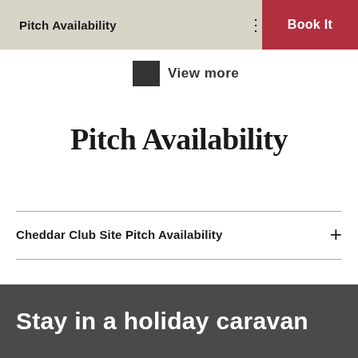Pitch Availability
[Figure (screenshot): Navigation header with 'Pitch Availability' title, three-dot menu icon, and 'Book It' button in red]
View more
Pitch Availability
Cheddar Club Site Pitch Availability  +
Stay in a holiday caravan